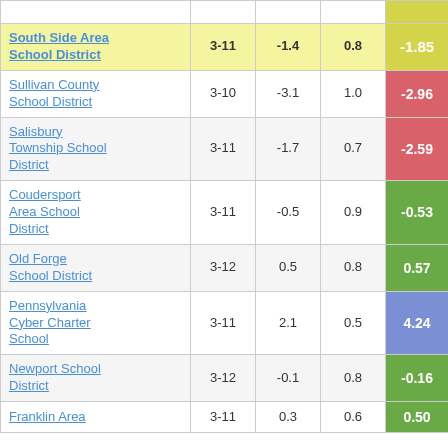| School District | Grades | Col3 | Col4 | Score |
| --- | --- | --- | --- | --- |
| South Side Area School District | 3-11 | -1.4 | 0.8 | -1.85 |
| Sullivan County School District | 3-10 | -3.1 | 1.0 | -2.96 |
| Salisbury Township School District | 3-11 | -1.7 | 0.7 | -2.59 |
| Coudersport Area School District | 3-11 | -0.5 | 0.9 | -0.53 |
| Old Forge School District | 3-12 | 0.5 | 0.8 | 0.57 |
| Pennsylvania Cyber Charter School | 3-11 | 2.1 | 0.5 | 4.24 |
| Newport School District | 3-12 | -0.1 | 0.8 | -0.16 |
| Franklin Area | 3-11 | 0.3 | 0.6 | 0.50 |